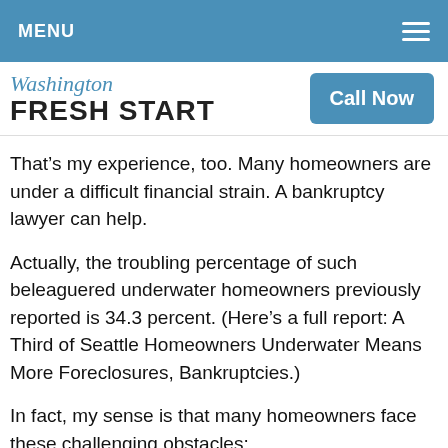MENU
Washington FRESH START
That’s my experience, too. Many homeowners are under a difficult financial strain. A bankruptcy lawyer can help.
Actually, the troubling percentage of such beleaguered underwater homeowners previously reported is 34.3 percent. (Here’s a full report: A Third of Seattle Homeowners Underwater Means More Foreclosures, Bankruptcies.)
In fact, my sense is that many homeowners face these challenging obstacles: